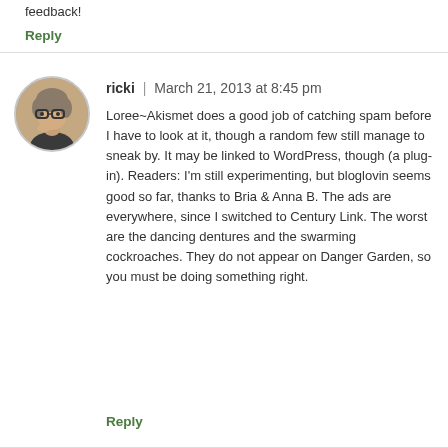feedback!
Reply
ricki | March 21, 2013 at 8:45 pm
Loree~Akismet does a good job of catching spam before I have to look at it, though a random few still manage to sneak by. It may be linked to WordPress, though (a plug-in). Readers: I'm still experimenting, but bloglovin seems good so far, thanks to Bria & Anna B. The ads are everywhere, since I switched to Century Link. The worst are the dancing dentures and the swarming cockroaches. They do not appear on Danger Garden, so you must be doing something right.
Reply